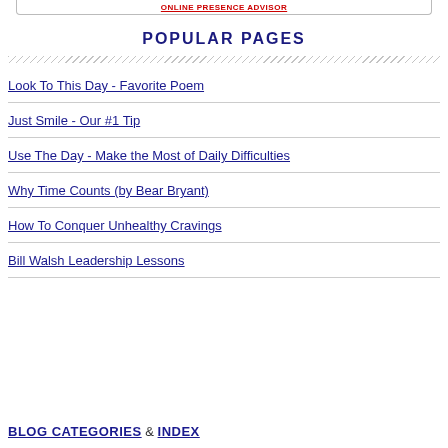ONLINE PRESENCE ADVISOR
POPULAR PAGES
Look To This Day - Favorite Poem
Just Smile - Our #1 Tip
Use The Day - Make the Most of Daily Difficulties
Why Time Counts (by Bear Bryant)
How To Conquer Unhealthy Cravings
Bill Walsh Leadership Lessons
BLOG CATEGORIES & INDEX